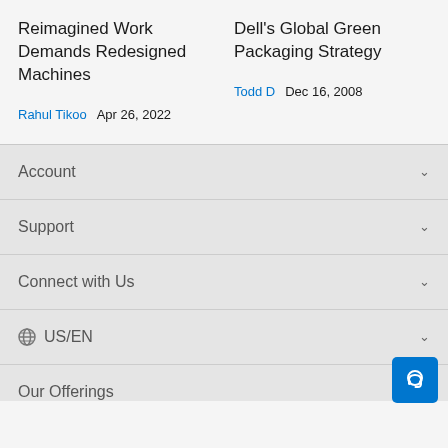Reimagined Work Demands Redesigned Machines
Rahul Tikoo    Apr 26, 2022
Dell's Global Green Packaging Strategy
Todd D    Dec 16, 2008
Account
Support
Connect with Us
US/EN
Our Offerings